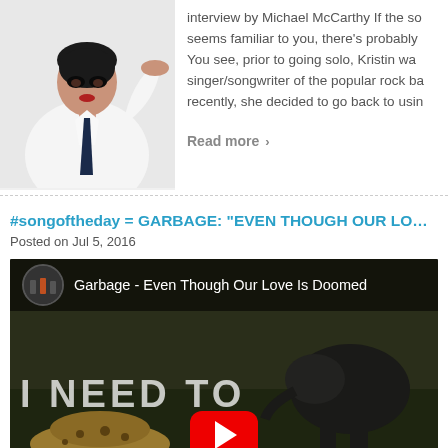[Figure (photo): Woman in white shirt and dark tie with hand raised near forehead, dark dramatic makeup, posing against white background]
interview by Michael McCarthy If the so seems familiar to you, there's probably  You see, prior to going solo, Kristin wa singer/songwriter of the popular rock ba recently, she decided to go back to usin
Read more »
#songoftheday = GARBAGE: "EVEN THOUGH OUR LOVE IS DOO
Posted on Jul 5, 2016
[Figure (screenshot): YouTube video thumbnail for Garbage - Even Though Our Love Is Doomed, showing wildlife (cheetah and elephants) in savanna with text overlay 'I NEED TO' and YouTube play button]